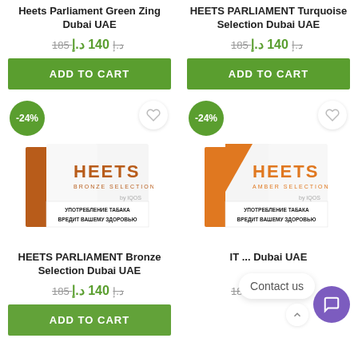Heets Parliament Green Zing Dubai UAE
185 د.إ 140 د.إ
HEETS PARLIAMENT Turquoise Selection Dubai UAE
185 د.إ 140 د.إ
[Figure (photo): HEETS Bronze Selection cigarette pack, white and brown packaging with Cyrillic health warning]
[Figure (photo): HEETS Amber Selection cigarette pack, white and orange packaging with Cyrillic health warning]
HEETS PARLIAMENT Bronze Selection Dubai UAE
185 د.إ 140 د.إ
IT ... Dubai UAE
185 د.إ 140 د.إ
Contact us